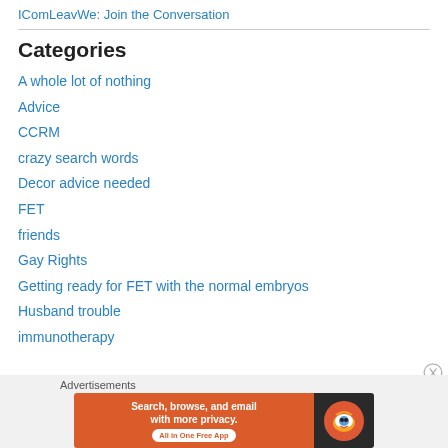IComLeavWe: Join the Conversation
Categories
A whole lot of nothing
Advice
CCRM
crazy search words
Decor advice needed
FET
friends
Gay Rights
Getting ready for FET with the normal embryos
Husband trouble
immunotherapy
Advertisements
[Figure (screenshot): DuckDuckGo advertisement banner: 'Search, browse, and email with more privacy. All in One Free App' with DuckDuckGo logo on dark background]